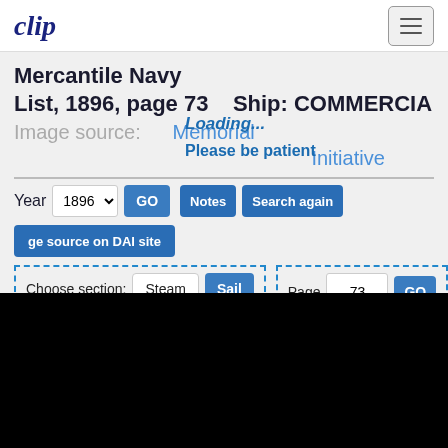clip
Mercantile Navy List, 1896, page 73    Ship: COMMERCIA
Image source:    Memorial University Di     Initiative
Year  1896  GO   Notes  Search again
Loading...
Please be patient
ge source on DAI site
Choose section:  Steam  Sail
Page  73  GO
[Figure (screenshot): Black area representing loading/blank image area at bottom of page]